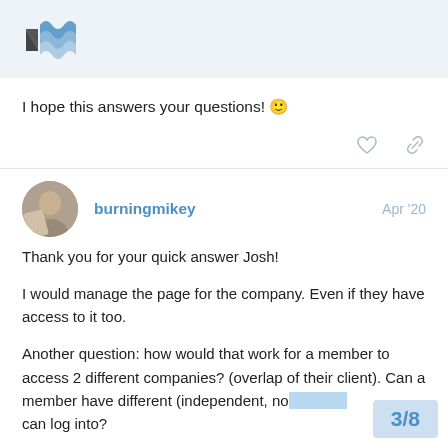[Figure (logo): Blue and dark stylized 'M' logo mark on light blue header background]
I hope this answers your questions! 🙂
burningmikey   Apr '20
Thank you for your quick answer Josh!
I would manage the page for the company. Even if they have access to it too.
Another question: how would that work for a member to access 2 different companies? (overlap of their client). Can a member have different (independent, no can log into?
3/8